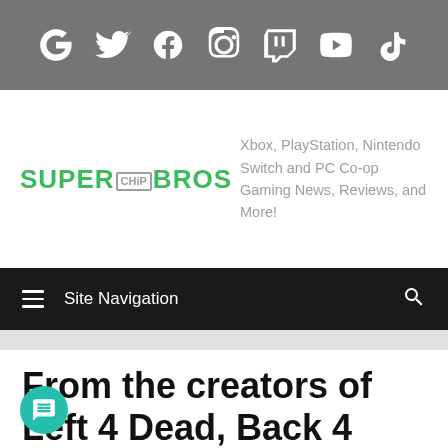Social media icons: Google, Twitter, Facebook, Instagram, Twitch, YouTube, TikTok
[Figure (logo): SuperChipBros logo with green text and grey chip graphic]
Xbox, PlayStation, Nintendo Switch and PC Co-op Gaming News, Reviews, and More!
Site Navigation
From the creators of Left 4 Dead, Back 4 Blood announced